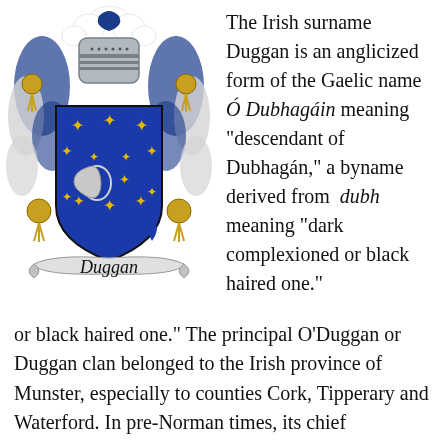[Figure (illustration): Duggan family coat of arms: a blue heraldic shield with gold six-pointed stars and a silver crescent moon, topped with a knight's helmet with blue and white mantling and a gold tassel crest. Below the shield is a scroll banner reading 'Duggan' in black ornate lettering.]
The Irish surname Duggan is an anglicized form of the Gaelic name Ó Dubhagáin meaning "descendant of Dubhagán," a byname derived from dubh meaning "dark complexioned or black haired one." The principal O'Duggan or Duggan clan belonged to the Irish province of Munster, especially to counties Cork, Tipperary and Waterford. In pre-Norman times, its chief